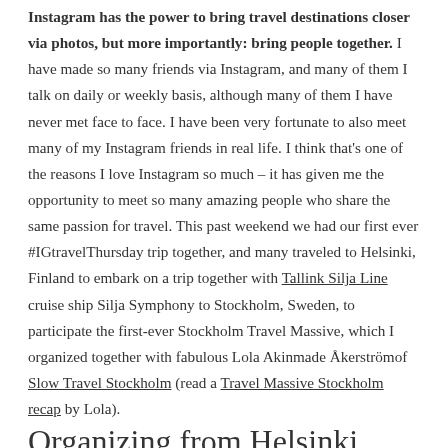Instagram has the power to bring travel destinations closer via photos, but more importantly: bring people together. I have made so many friends via Instagram, and many of them I talk on daily or weekly basis, although many of them I have never met face to face. I have been very fortunate to also meet many of my Instagram friends in real life. I think that's one of the reasons I love Instagram so much – it has given me the opportunity to meet so many amazing people who share the same passion for travel. This past weekend we had our first ever #IGtravelThursday trip together, and many traveled to Helsinki, Finland to embark on a trip together with Tallink Silja Line cruise ship Silja Symphony to Stockholm, Sweden, to participate the first-ever Stockholm Travel Massive, which I organized together with fabulous Lola Akinmade Åkerströmof Slow Travel Stockholm (read a Travel Massive Stockholm recap by Lola).
Organizing from Helsinki...